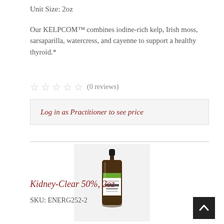Unit Size: 2oz
Our KELPCOM™ combines iodine-rich kelp, Irish moss, sarsaparilla, watercress, and cayenne to support a healthy thyroid.*
★★★★★ (0 reviews)
Log in as Practitioner to see price
[Figure (photo): Amber dropper bottle with green label reading KIDNEY-CLEAR on a light gray background]
Kidney-Clear 50%, 2oz
SKU: ENERG252-2